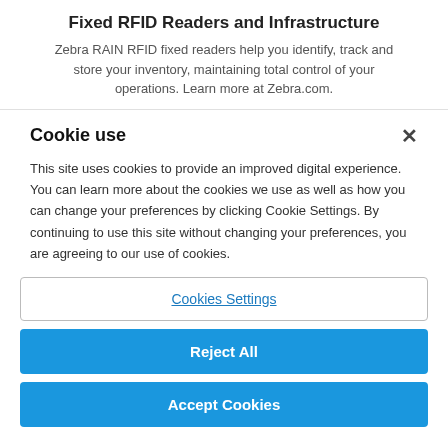Fixed RFID Readers and Infrastructure
Zebra RAIN RFID fixed readers help you identify, track and store your inventory, maintaining total control of your operations. Learn more at Zebra.com.
Cookie use
This site uses cookies to provide an improved digital experience. You can learn more about the cookies we use as well as how you can change your preferences by clicking Cookie Settings. By continuing to use this site without changing your preferences, you are agreeing to our use of cookies.
Cookies Settings
Reject All
Accept Cookies